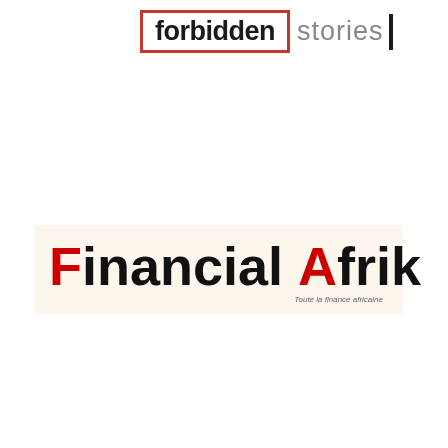[Figure (logo): Forbidden Stories logo: the word 'forbidden' in bold dark text inside a red rectangle border, followed by 'stories' in grey text with a vertical black bar divider]
[Figure (logo): Financial Afrik logo: 'F' in red bold, 'inancial' in black bold, ' ' space, 'A' in red bold, 'frik' in black bold, with a small globe icon above, on a cream/beige background, with italic tagline 'Toute la finance africaine']